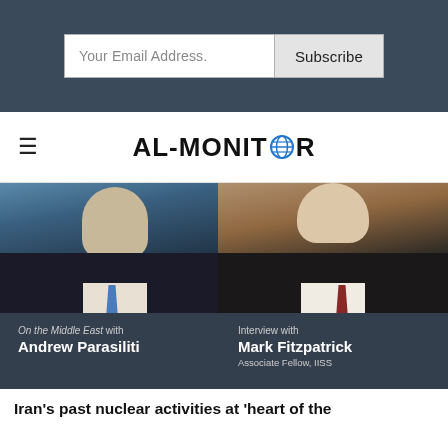Your Email Address. Subscribe
AL-MONITOR
[Figure (photo): Two men in suits: On the Middle East with Andrew Parasiliti / Interview with Mark Fitzpatrick, Associate Fellow, IISS]
Iran's past nuclear activities at 'heart of the